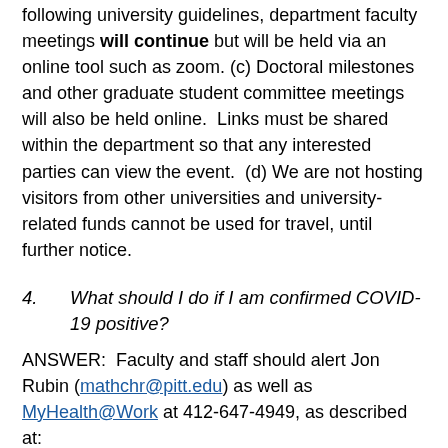following university guidelines, department faculty meetings will continue but will be held via an online tool such as zoom. (c) Doctoral milestones and other graduate student committee meetings will also be held online.  Links must be shared within the department so that any interested parties can view the event.  (d) We are not hosting visitors from other universities and university-related funds cannot be used for travel, until further notice.
4.    What should I do if I am confirmed COVID-19 positive?
ANSWER:  Faculty and staff should alert Jon Rubin (mathchr@pitt.edu) as well as MyHealth@Work at 412-647-4949, as described at:
https://www.emergency.pitt.edu/covid-19/personal-risk-guidance/confirmed
Also, if your duties will be compromised, note that the university guidelines to request to utilize sick leave and/or